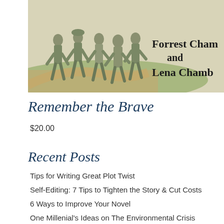[Figure (illustration): Book cover illustration showing soldiers marching, with author names 'Forrest Cham and Lena Chamb' visible on the right side]
Remember the Brave
$20.00
Recent Posts
Tips for Writing Great Plot Twist
Self-Editing: 7 Tips to Tighten the Story & Cut Costs
6 Ways to Improve Your Novel
One Millenial's Ideas on The Environmental Crisis